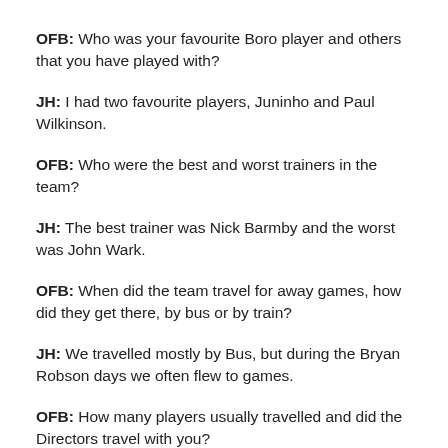OFB: Who was your favourite Boro player and others that you have played with?
JH: I had two favourite players, Juninho and Paul Wilkinson.
OFB: Who were the best and worst trainers in the team?
JH: The best trainer was Nick Barmby and the worst was John Wark.
OFB: When did the team travel for away games, how did they get there, by bus or by train?
JH: We travelled mostly by Bus, but during the Bryan Robson days we often flew to games.
OFB: How many players usually travelled and did the Directors travel with you?